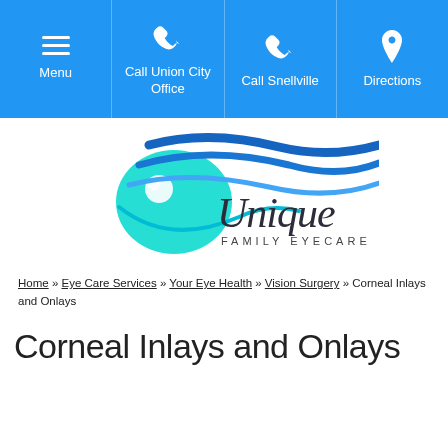Menu | Call Union City Office | Call Snellville | Directions
[Figure (logo): Unique Family Eyecare logo with stylized eye and wave shapes in teal and blue]
Home » Eye Care Services » Your Eye Health » Vision Surgery » Corneal Inlays and Onlays
Corneal Inlays and Onlays